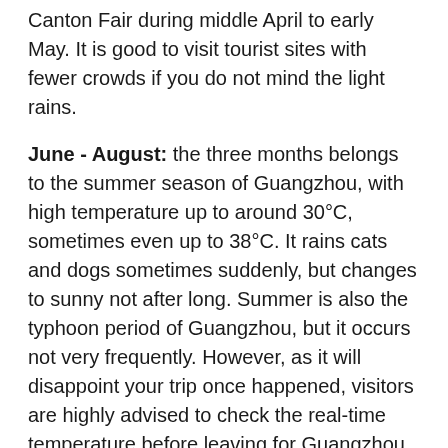Canton Fair during middle April to early May. It is good to visit tourist sites with fewer crowds if you do not mind the light rains.
June - August: the three months belongs to the summer season of Guangzhou, with high temperature up to around 30°C, sometimes even up to 38°C. It rains cats and dogs sometimes suddenly, but changes to sunny not after long. Summer is also the typhoon period of Guangzhou, but it occurs not very frequently. However, as it will disappoint your trip once happened, visitors are highly advised to check the real-time temperature before leaving for Guangzhou. Furthermore, student visitors gather there for summer vacation, and rates for flights and hotels usually rise during those months.
Canton Fair is usually held twice a year, from middle April to early May and middle October to early November, when a lot of people rush to Guangzhou for the exhibition and conference, so regular travelers are not recommended to visit Guangzhou during those time in order to avoid the crowds and higher prices of flight/train tickets and room rates.